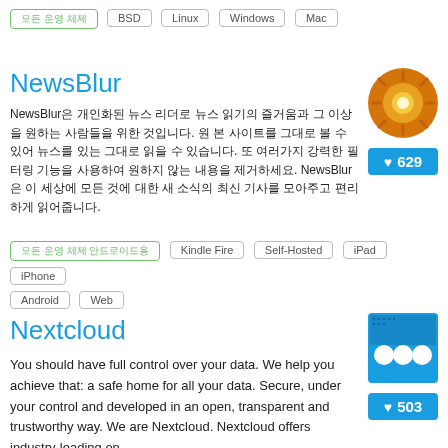모든 운영 체제 BSD Linux Windows Mac
NewsBlur
[Figure (logo): NewsBlur orange circular logo with gear/sun design]
NewsBlur은 개인화된 뉴스 리더로 뉴스 읽기의 즐거움과 그 이상을 원하는 사람들을 위한 것입니다. 원 본 사이트를 그대로 볼 수 있어 뉴스를 있는 그대로 읽을 수 있습니다. 또 여러가지 강력한 필터링 기능을 사용하여 원하지 않는 내용을 제거하세요. NewsBlur은 이 세상에 모든 것에 대한 새 소식의 최신 기사를 모아주고 편리하게 읽어줍니다.
♥ 629
모든 운영 체제 안드로이드용 Kindle Fire Self-Hosted iPad iPhone Android Web
Nextcloud
[Figure (logo): Nextcloud blue square logo with three circles]
You should have full control over your data. We help you achieve that: a safe home for all your data. Secure, under your control and developed in an open, transparent and trustworthy way. We are Nextcloud. Nextcloud offers industry-leading on-
♥ 503